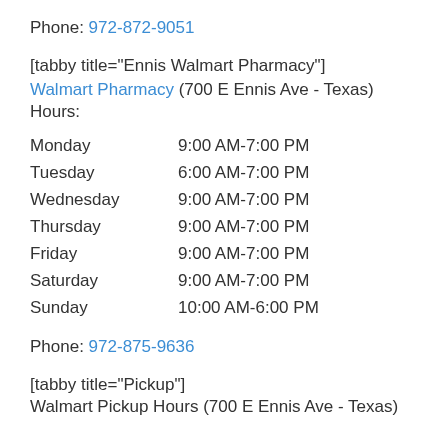Phone: 972-872-9051
[tabby title="Ennis Walmart Pharmacy"]
Walmart Pharmacy (700 E Ennis Ave - Texas)
Hours:
| Day | Hours |
| --- | --- |
| Monday | 9:00 AM-7:00 PM |
| Tuesday | 6:00 AM-7:00 PM |
| Wednesday | 9:00 AM-7:00 PM |
| Thursday | 9:00 AM-7:00 PM |
| Friday | 9:00 AM-7:00 PM |
| Saturday | 9:00 AM-7:00 PM |
| Sunday | 10:00 AM-6:00 PM |
Phone: 972-875-9636
[tabby title="Pickup"]
Walmart Pickup Hours (700 E Ennis Ave - Texas)